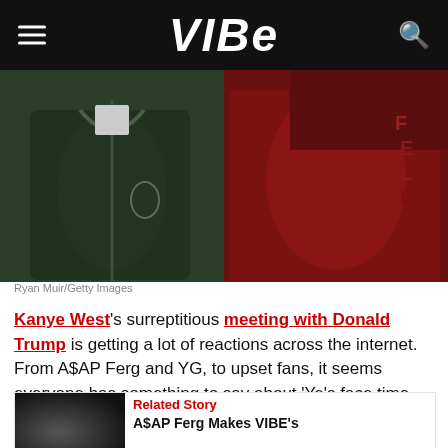VIBE
[Figure (photo): Two people side by side: one in a dark green zip-up hoodie, one in a red jacket. Split-panel photo.]
Ryan Muir/Getty Images
Kanye West's surreptitious meeting with Donald Trump is getting a lot of reactions across the internet. From A$AP Ferg and YG, to upset fans, it seems everyone has something to say about 'Ye's face time with the president-elect.
Related Story
A$AP Ferg Makes VIBE's